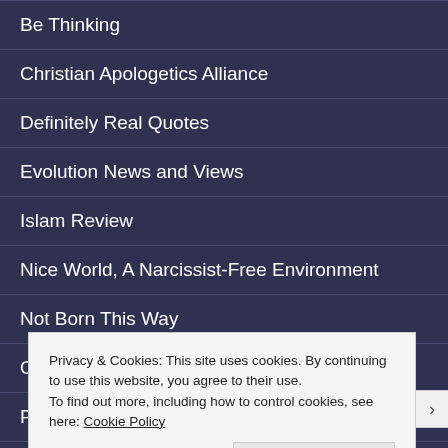Be Thinking
Christian Apologetics Alliance
Definitely Real Quotes
Evolution News and Views
Islam Review
Nice World, A Narcissist-Free Environment
Not Born This Way
Our Daily Bread Ministries
Philosophia Christi
Privacy & Cookies: This site uses cookies. By continuing to use this website, you agree to their use.
To find out more, including how to control cookies, see here: Cookie Policy
Close and accept